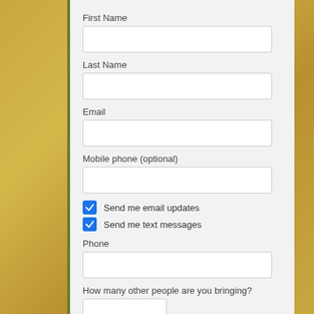First Name
Last Name
Email
Mobile phone (optional)
Send me email updates
Send me text messages
Phone
How many other people are you bringing?